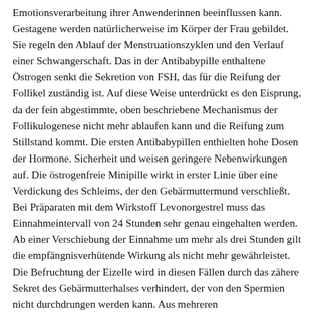Emotionsverarbeitung ihrer Anwenderinnen beeinflussen kann. Gestagene werden natürlicherweise im Körper der Frau gebildet. Sie regeln den Ablauf der Menstruationszyklen und den Verlauf einer Schwangerschaft. Das in der Antibabypille enthaltene Östrogen senkt die Sekretion von FSH, das für die Reifung der Follikel zuständig ist. Auf diese Weise unterdrückt es den Eisprung, da der fein abgestimmte, oben beschriebene Mechanismus der Follikulogenese nicht mehr ablaufen kann und die Reifung zum Stillstand kommt. Die ersten Antibabypillen enthielten hohe Dosen der Hormone. Sicherheit und weisen geringere Nebenwirkungen auf. Die östrogenfreie Minipille wirkt in erster Linie über eine Verdickung des Schleims, der den Gebärmuttermund verschließt. Bei Präparaten mit dem Wirkstoff Levonorgestrel muss das Einnahmeintervall von 24 Stunden sehr genau eingehalten werden. Ab einer Verschiebung der Einnahme um mehr als drei Stunden gilt die empfängnisverhütende Wirkung als nicht mehr gewährleistet. Die Befruchtung der Eizelle wird in diesen Fällen durch das zähere Sekret des Gebärmutterhalses verhindert, der von den Spermien nicht durchdrungen werden kann. Aus mehreren bevölkerungsrepräsentativen Studien, die von 1984 bis 1999 durchgeführt wurden, liegen für die Bundesrepublik Deutschland umfassende Daten zur Pharmakoepidemiologie der Anwendung von Kontrazeptiva vor. Deutschland 2019 zwischen knapp fünf und 22